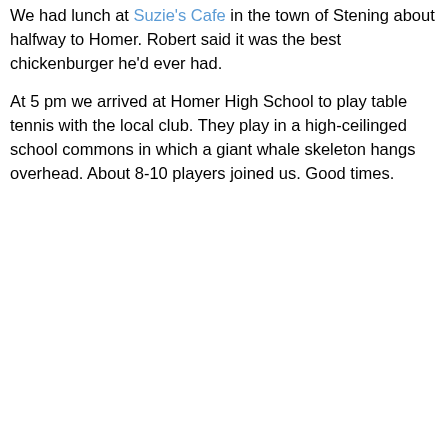We had lunch at Suzie's Cafe in the town of Stening about halfway to Homer. Robert said it was the best chickenburger he'd ever had.
At 5 pm we arrived at Homer High School to play table tennis with the local club. They play in a high-ceilinged school commons in which a giant whale skeleton hangs overhead. About 8-10 players joined us. Good times.